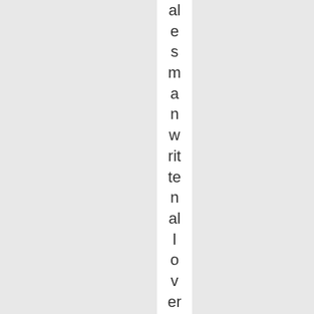salesman written all over him. He was as a push